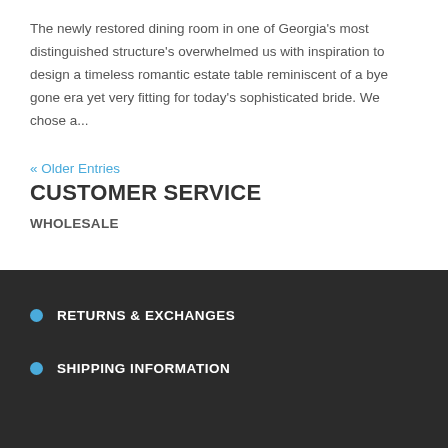The newly restored dining room in one of Georgia's most distinguished structure's overwhelmed us with inspiration to design a timeless romantic estate table reminiscent of a bye gone era yet very fitting for today's sophisticated bride. We chose a...
« Older Entries
CUSTOMER SERVICE
WHOLESALE
RETURNS & EXCHANGES
SHIPPING INFORMATION